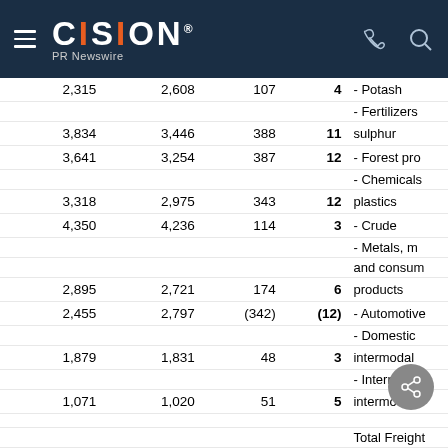CISION PR Newswire
| Col1 | Col2 | Col3 | Col4 | Category |
| --- | --- | --- | --- | --- |
| 2,315 | 2,608 | 107 | 4 | - Potash |
|  |  |  |  | - Fertilizers |
| 3,834 | 3,446 | 388 | 11 | sulphur |
| 3,641 | 3,254 | 387 | 12 | - Forest pro |
|  |  |  |  | - Chemicals |
| 3,318 | 2,975 | 343 | 12 | plastics |
| 4,350 | 4,236 | 114 | 3 | - Crude |
|  |  |  |  | - Metals, m |
|  |  |  |  | and consum |
| 2,895 | 2,721 | 174 | 6 | products |
| 2,455 | 2,797 | (342) | (12) | - Automotive |
|  |  |  |  | - Domestic |
| 1,879 | 1,831 | 48 | 3 | intermodal |
|  |  |  |  | - Internatio |
| 1,071 | 1,020 | 51 | 5 | intermodal |
|  |  |  |  |  |
|  |  |  |  | Total Freight |
|  |  |  |  | Revenues |
| $ 2,489 | $ 2,291 | $ 198 | 9 | Carload |